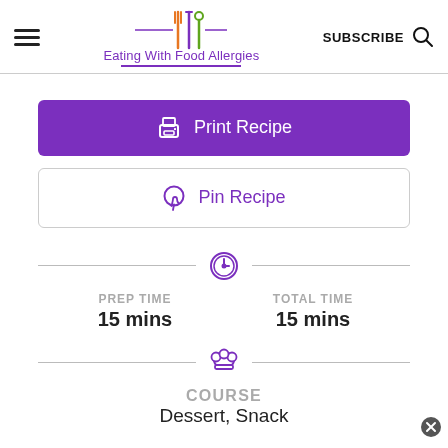Eating With Food Allergies
Print Recipe
Pin Recipe
PREP TIME 15 mins
TOTAL TIME 15 mins
COURSE
Dessert, Snack